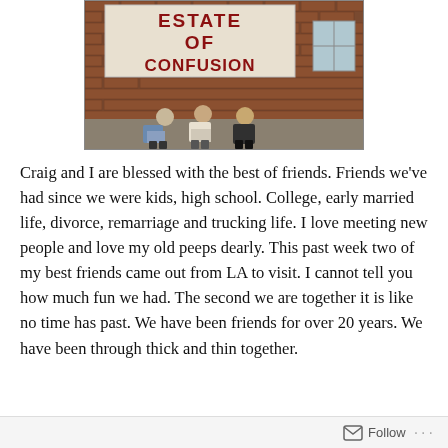[Figure (photo): Photo of three people sitting in front of a brick wall with a large sign reading 'ESTATE OF CONFUSION' in red letters on a white background]
Craig and I are blessed with the best of friends. Friends we've had since we were kids, high school. College, early married life, divorce, remarriage and trucking life. I love meeting new people and love my old peeps dearly. This past week two of my best friends came out from LA to visit. I cannot tell you how much fun we had. The second we are together it is like no time has past. We have been friends for over 20 years. We have been through thick and thin together.
Follow